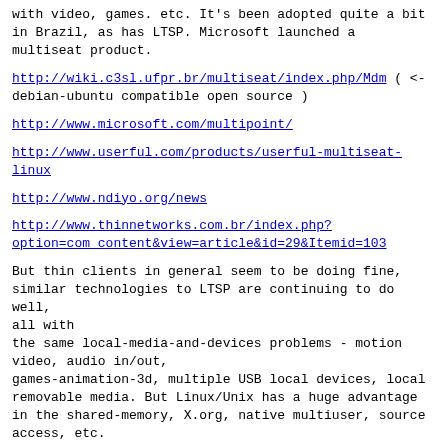with video, games. etc.  It's been adopted quite a bit in Brazil, as has LTSP.   Microsoft launched a multiseat product.
http://wiki.c3sl.ufpr.br/multiseat/index.php/Mdm ( <- debian-ubuntu compatible open source )
http://www.microsoft.com/multipoint/
http://www.userful.com/products/userful-multiseat-linux
http://www.ndiyo.org/news
http://www.thinnetworks.com.br/index.php?option=com_content&view=article&id=29&Itemid=103
But thin clients in general seem to be doing fine, similar technologies to LTSP are continuing to do well, all with the same local-media-and-devices problems - motion video, audio in/out, games-animation-3d, multiple USB local devices, local removable media.  But Linux/Unix has a huge advantage in the shared-memory, X.org, native multiuser, source access, etc.
Big-fat clients, with tons of video, storage, processing, connectivity, will of course always have advantages.  But growing clouds, distributed-processing, clusters and smartphones seem like huge conflicts with big-fat clients from the Internet access,